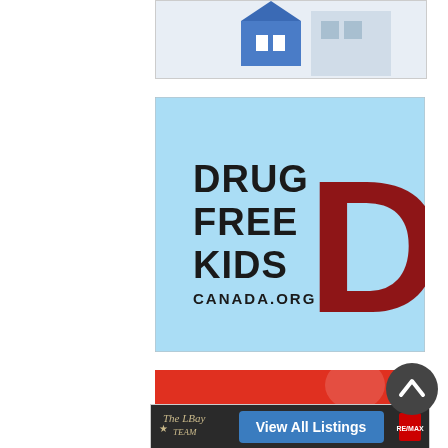[Figure (illustration): Partial view of a real estate or home advertisement image showing a blue house model on a light background]
[Figure (logo): Drug Free Kids Canada advertisement. Light blue background with bold dark text 'DRUG FREE KIDS CANADA.ORG' and a large dark red letter D on the right side.]
[Figure (illustration): Partially visible red banner advertisement at the bottom of the page]
[Figure (illustration): The LBay Team real estate banner advertisement with blue 'View All Listings' button and RE/MAX logo on dark background]